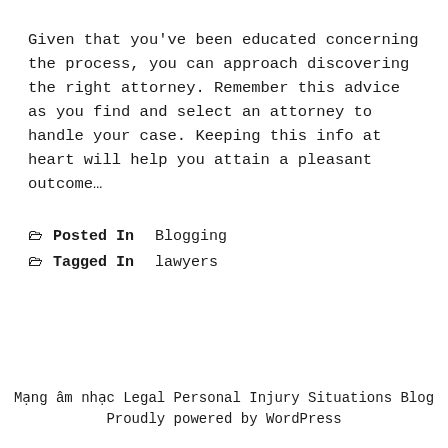Given that you've been educated concerning the process, you can approach discovering the right attorney. Remember this advice as you find and select an attorney to handle your case. Keeping this info at heart will help you attain a pleasant outcome…
Posted In Blogging
Tagged In lawyers
Mạng âm nhạc Legal Personal Injury Situations Blog
Proudly powered by WordPress